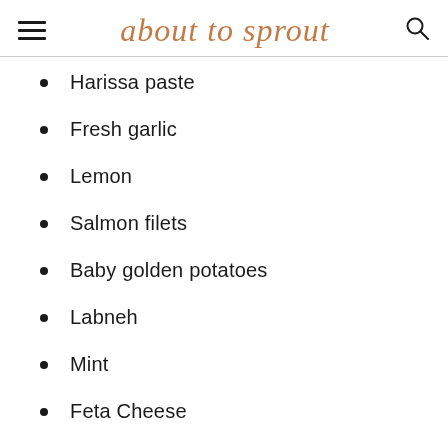about to sprout
Harissa paste
Fresh garlic
Lemon
Salmon filets
Baby golden potatoes
Labneh
Mint
Feta Cheese